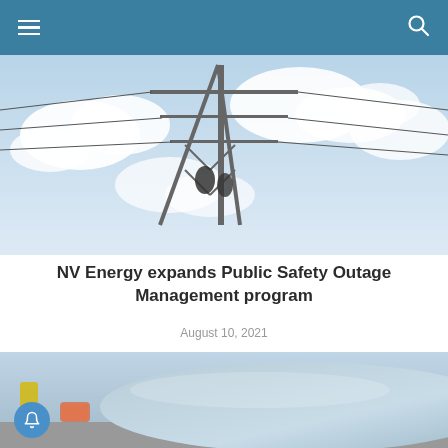[Figure (photo): Workers on an electrical transmission tower against a cloudy sky]
NV Energy expands Public Safety Outage Management program
August 10, 2021
[Figure (photo): Close-up of a light blue/silver car exterior]